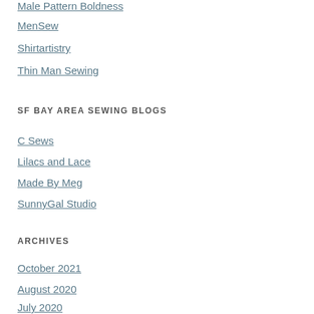Male Pattern Boldness
MenSew
Shirtartistry
Thin Man Sewing
SF BAY AREA SEWING BLOGS
C Sews
Lilacs and Lace
Made By Meg
SunnyGal Studio
ARCHIVES
October 2021
August 2020
July 2020